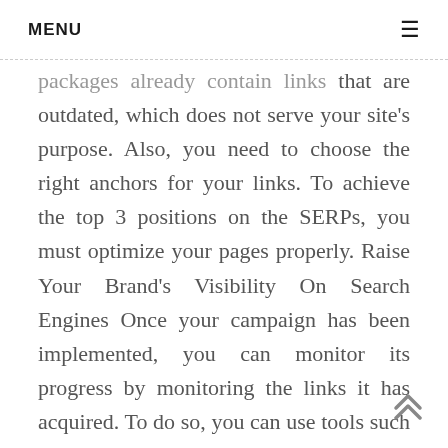MENU ☰
packages already contain links that are outdated, which does not serve your site's purpose. Also, you need to choose the right anchors for your links. To achieve the top 3 positions on the SERPs, you must optimize your pages properly. Raise Your Brand's Visibility On Search Engines Once your campaign has been implemented, you can monitor its progress by monitoring the links it has acquired. To do so, you can use tools such as Google Search